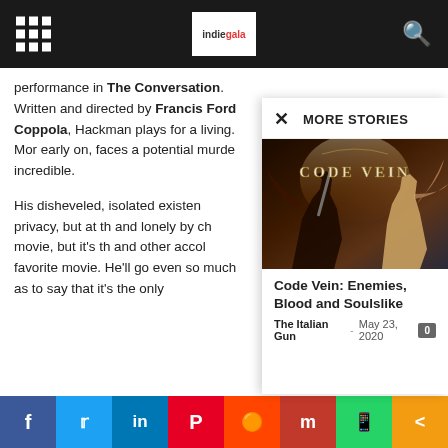indiegala
performance in The Conversation. Written and directed by Francis Ford Coppola, Hackman plays for a living. Mor early on, faces a potential murde incredible.

His disheveled, isolated existen privacy, but at the and lonely by ch movie, but it's th and other accol favorite movie. He'll go even so much as to say that it's the only
MORE STORIES
[Figure (screenshot): Code Vein game promotional image with two characters and game logo 'CODE VEIN']
Code Vein: Enemies, Blood and Soulslike
The Italian Gun - May 23, 2020
f  twitter  in  P  reddit  m  WhatsApp  share